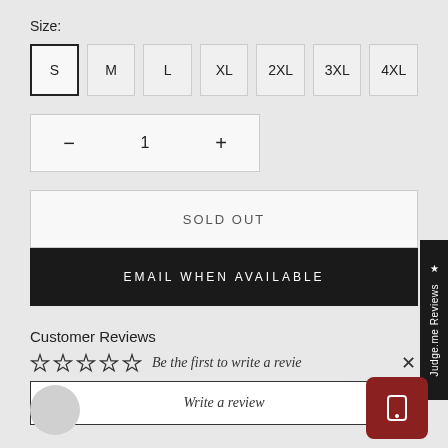Size:
S (selected), M, L, XL, 2XL, 3XL, 4XL
— 1 +
SOLD OUT
EMAIL WHEN AVAILABLE
[Figure (other): Judge.me Reviews sidebar tab]
Customer Reviews
☆☆☆☆☆  Be the first to write a review
Write a review